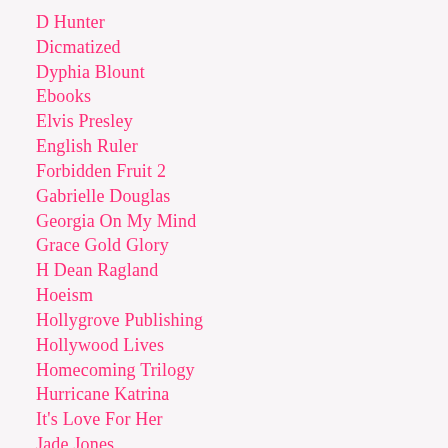D Hunter
Dicmatized
Dyphia Blount
Ebooks
Elvis Presley
English Ruler
Forbidden Fruit 2
Gabrielle Douglas
Georgia On My Mind
Grace Gold Glory
H Dean Ragland
Hoeism
Hollygrove Publishing
Hollywood Lives
Homecoming Trilogy
Hurricane Katrina
It's Love For Her
Jade Jones
Jennifer Luckett
Karen Williams